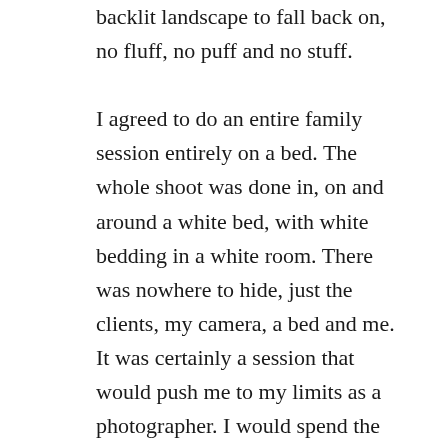backlit landscape to fall back on, no fluff, no puff and no stuff.

I agreed to do an entire family session entirely on a bed. The whole shoot was done in, on and around a white bed, with white bedding in a white room. There was nowhere to hide, just the clients, my camera, a bed and me. It was certainly a session that would push me to my limits as a photographer. I would spend the next two hours with this family. The session was intimate and the blank canvas of the room definitely sharpened my mind. I found that without any other visual distractions I was really forced to connect with my clients. They looked to me for more direction and I